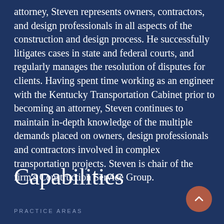attorney, Steven represents owners, contractors, and design professionals in all aspects of the construction and design process. He successfully litigates cases in state and federal courts, and regularly manages the resolution of disputes for clients. Having spent time working as an engineer with the Kentucky Transportation Cabinet prior to becoming an attorney, Steven continues to maintain in-depth knowledge of the multiple demands placed on owners, design professionals and contractors involved in complex transportation projects. Steven is chair of the firm's Construction Service Group.
Capabilities
PRACTICE AREAS